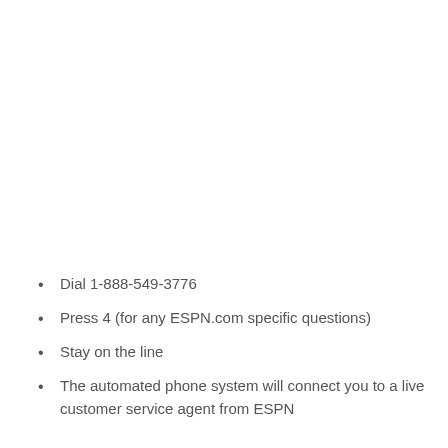Dial 1-888-549-3776
Press 4 (for any ESPN.com specific questions)
Stay on the line
The automated phone system will connect you to a live customer service agent from ESPN